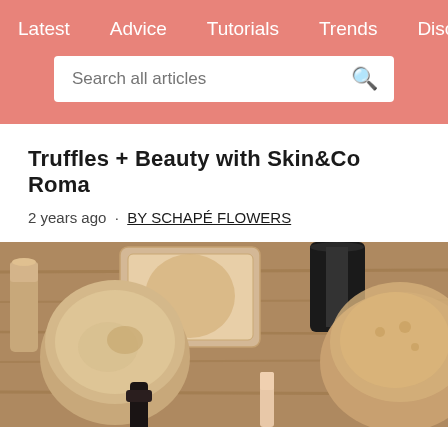Latest   Advice   Tutorials   Trends   Disco >
[Figure (screenshot): Search bar with placeholder text 'Search all articles' and a search icon on a salmon/coral background]
Truffles + Beauty with Skin&Co Roma
2 years ago · BY SCHANÉ FLOWERS
[Figure (photo): Close-up photo of makeup products including foundation tubes, powder compacts, makeup brushes on a wooden surface]